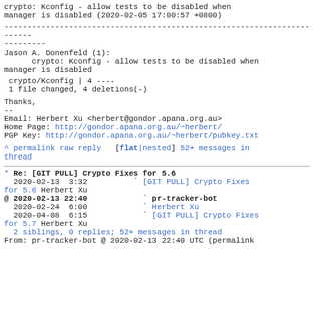crypto: Kconfig - allow tests to be disabled when manager is disabled (2020-02-05 17:00:57 +0800)
------------------------------------------------------------------------
Jason A. Donenfeld (1):
      crypto: Kconfig - allow tests to be disabled when manager is disabled
crypto/Kconfig | 4 ----
 1 file changed, 4 deletions(-)
Thanks,
--
Email: Herbert Xu <herbert@gondor.apana.org.au>
Home Page: http://gondor.apana.org.au/~herbert/
PGP Key: http://gondor.apana.org.au/~herbert/pubkey.txt
^ permalink raw reply   [flat|nested] 52+ messages in thread
* Re: [GIT PULL] Crypto Fixes for 5.6
  2020-02-13  3:32          ` [GIT PULL] Crypto Fixes for 5.6 Herbert Xu
@ 2020-02-13 22:40            ` pr-tracker-bot
  2020-02-24  6:00            ` Herbert Xu
  2020-04-08  6:15            ` [GIT PULL] Crypto Fixes for 5.7 Herbert Xu
  2 siblings, 0 replies; 52+ messages in thread
From: pr-tracker-bot @ 2020-02-13 22:40 UTC (permalink